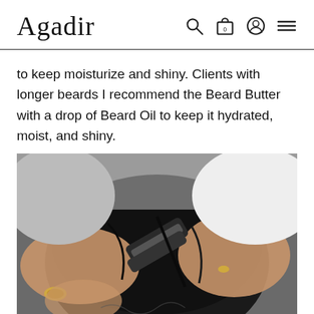Agadir
to keep moisturize and shiny. Clients with longer beards I recommend the Beard Butter with a drop of Beard Oil to keep it hydrated, moist, and shiny.
[Figure (photo): Close-up photo of a person trimming or styling a thick black beard with scissors, hands visible with rings and a gold chain bracelet, top-down view at what appears to be a trade show or salon event.]